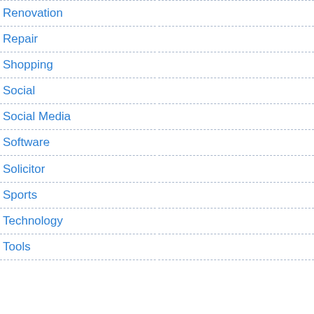Renovation
Repair
Shopping
Social
Social Media
Software
Solicitor
Sports
Technology
Tools